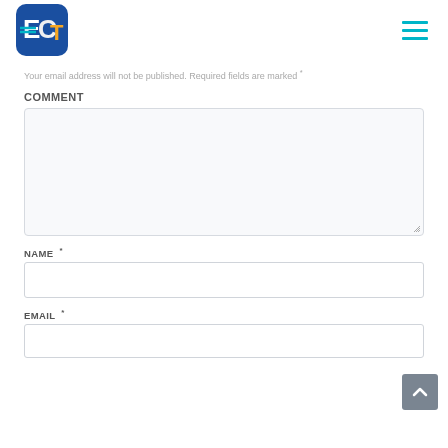ECT logo and navigation menu
Your email address will not be published. Required fields are marked *
COMMENT
NAME *
EMAIL *